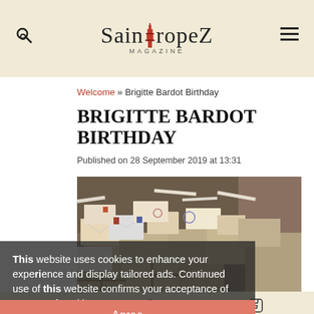SaintTropeZ MAGAZINE
Welcome » Brigitte Bardot Birthday
BRIGITTE BARDOT BIRTHDAY
Published on 28 September 2019 at 13:31
[Figure (photo): Pile of letters, envelopes, and packages overflowing from a vehicle, birthday mail for Brigitte Bardot]
This website uses cookies to enhance your experience and display tailored ads. Continued use of this website confirms your acceptance of our use of cookies.
Agree
Email  Map  Facebook